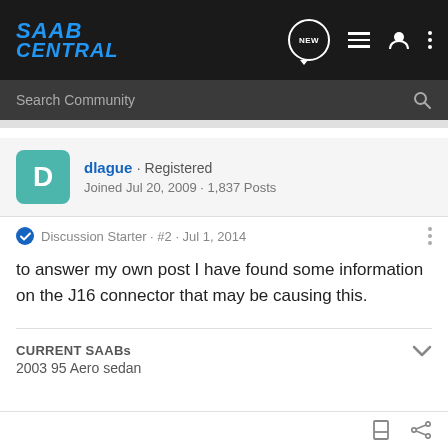[Figure (screenshot): SaabCentral forum navigation bar with logo and icons]
[Figure (screenshot): Search Community input bar]
dlague · Registered
Joined Jul 20, 2009 · 1,837 Posts
Discussion Starter · #2 · Jul 1, 2014
to answer my own post I have found some information on the J16 connector that may be causing this.
CURRENT SAABs
2003 95 Aero sedan